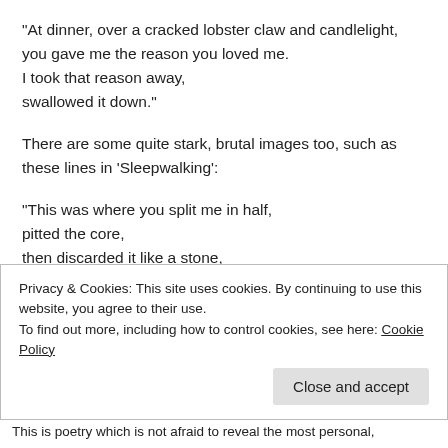“At dinner, over a cracked lobster claw and candlelight, you gave me the reason you loved me. I took that reason away, swallowed it down.”
There are some quite stark, brutal images too, such as these lines in ‘Sleepwalking’:
“This was where you split me in half, pitted the core, then discarded it like a stone, never looking back”
Privacy & Cookies: This site uses cookies. By continuing to use this website, you agree to their use.
To find out more, including how to control cookies, see here: Cookie Policy
Close and accept
This is poetry which is not afraid to reveal the most personal,